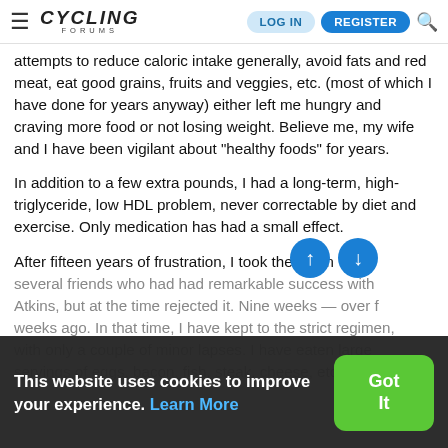CYCLING FORUMS — LOG IN | REGISTER
attempts to reduce caloric intake generally, avoid fats and red meat, eat good grains, fruits and veggies, etc. (most of which I have done for years anyway) either left me hungry and craving more food or not losing weight. Believe me, my wife and I have been vigilant about "healthy foods" for years.
In addition to a few extra pounds, I had a long-term, high-triglyceride, low HDL problem, never correctable by diet and exercise. Only medication has had a small effect.
After fifteen years of frustration, I took the example of several friends who had had remarkable success with Atkins, but at the time rejected it. Nine weeks — over fourteen weeks ago. In that time, I have kept to the strict regimen, with only a couple of minor lapses. I have eaten large servings of eggs, bacon, fish, steak, cheese, etc. (things I
This website uses cookies to improve your experience. Learn More
Got it